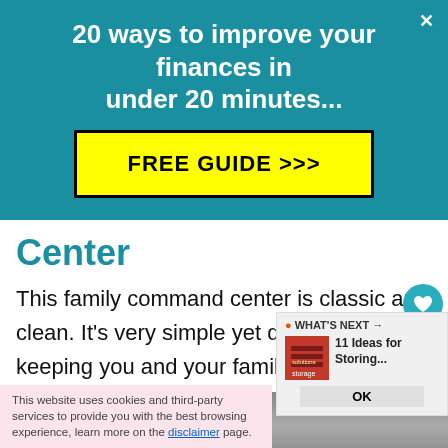20 ways to improve your finances in under 20 minutes...
[Figure (other): Yellow button reading FREE GUIDE >>> on teal background]
Center
This family command center is classic and clean. It’s very simple yet does the job of keeping you and your family organized.
[Figure (photo): Partial photo showing text 'The L...' in large serif font on a wooden or painted sign]
WHAT'S NEXT → 11 Ideas for Storing...
This website uses cookies and third-party services to provide you with the best browsing experience, learn more on the disclaimer page.